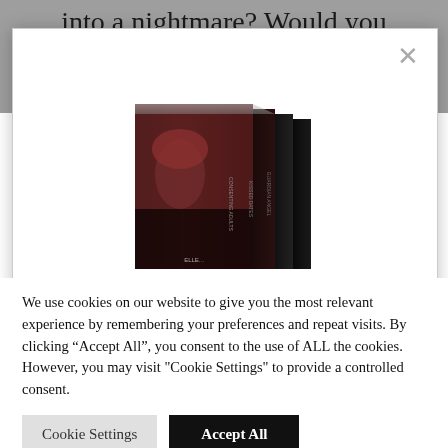into a nightmare? Would you like to suggest it to them?
[Figure (photo): A set of dark horror/thriller books stacked in a 3D box set arrangement, with a gothic cover featuring a figure with red hair.]
We use cookies on our website to give you the most relevant experience by remembering your preferences and repeat visits. By clicking “Accept All”, you consent to the use of ALL the cookies. However, you may visit "Cookie Settings" to provide a controlled consent.
Cookie Settings
Accept All